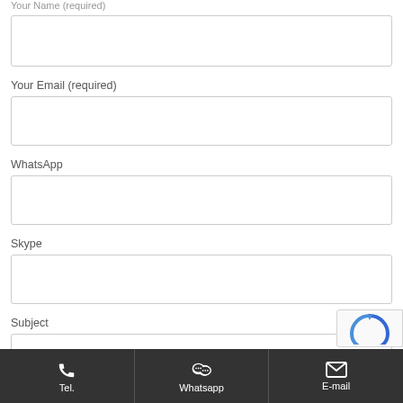Your Name (required)
Your Email (required)
WhatsApp
Skype
Subject
Tel.  Whatsapp  E-mail